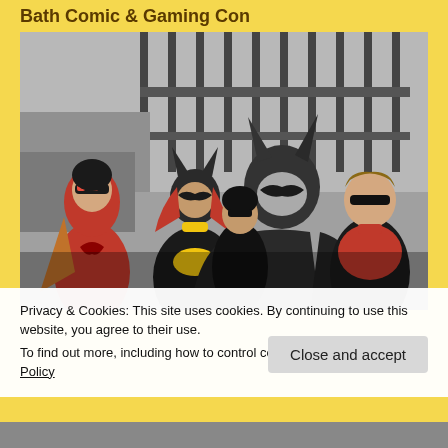Bath Comic & Gaming Con
[Figure (photo): Group of people in superhero costumes including Batman, Batgirl, Batwoman (in red), and Robin-style characters gathered together outdoors in front of metal railings and a concrete wall.]
Privacy & Cookies: This site uses cookies. By continuing to use this website, you agree to their use.
To find out more, including how to control cookies, see here: Cookie Policy